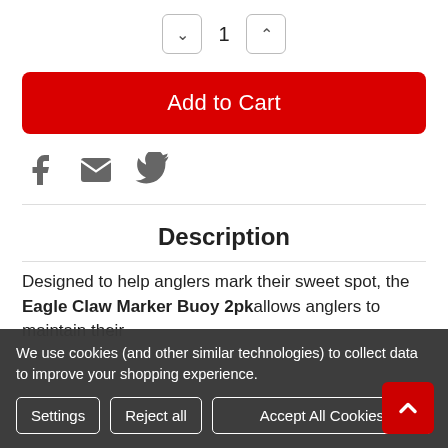[Figure (screenshot): Quantity selector with down arrow, number 1, and up arrow buttons]
[Figure (screenshot): Red Add to Cart button]
[Figure (screenshot): Social share icons: Facebook, Email, Twitter]
Description
Designed to help anglers mark their sweet spot, the Eagle Claw Marker Buoy 2pk allows anglers to maintain their
We use cookies (and other similar technologies) to collect data to improve your shopping experience.
[Figure (screenshot): Cookie consent banner with Settings, Reject all, Accept All Cookies buttons and a red scroll-to-top button]